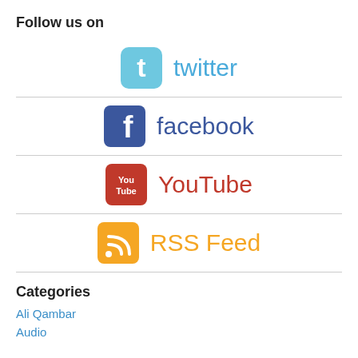Follow us on
[Figure (logo): Twitter bird logo icon (light blue rounded square with white bird)]
[Figure (logo): Facebook logo icon (dark blue rounded square with white lowercase f)]
[Figure (logo): YouTube logo icon (red rounded square with You Tube text in white)]
[Figure (logo): RSS feed icon (orange rounded square with white wifi/signal waves)]
Categories
Ali Qambar
Audio